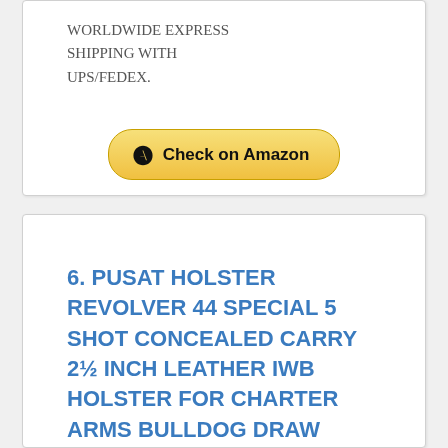WORLDWIDE EXPRESS SHIPPING WITH UPS/FEDEX.
[Figure (other): Check on Amazon button with Amazon logo]
6. PUSAT HOLSTER REVOLVER 44 SPECIAL 5 SHOT CONCEALED CARRY 2½ INCH LEATHER IWB HOLSTER FOR CHARTER ARMS BULLDOG DRAW LEFT HAND COLORS BLACK-BROWN (BLACK, LEFT HAND)